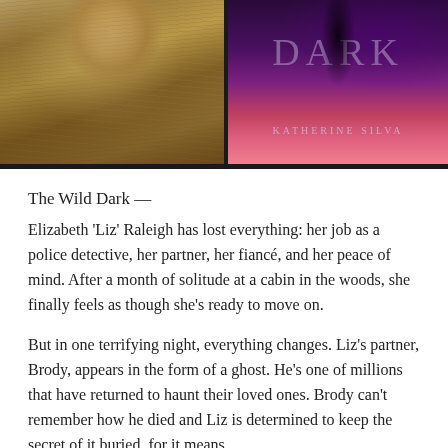[Figure (photo): Photo of a person (presumed author) with long hair in a field of tall golden grass, warm tones]
[Figure (illustration): Book cover of 'The Wild Dark' by Katherine Silva — dark purple/red gradient background with silhouette of a figure, title text 'DARK' and author name 'KATHERINE SILVA']
The Wild Dark —
Elizabeth 'Liz' Raleigh has lost everything: her job as a police detective, her partner, her fiancé, and her peace of mind. After a month of solitude at a cabin in the woods, she finally feels as though she's ready to move on.
But in one terrifying night, everything changes. Liz's partner, Brody, appears in the form of a ghost. He's one of millions that have returned to haunt their loved ones. Brody can't remember how he died and Liz is determined to keep the secret of it buried, for it means